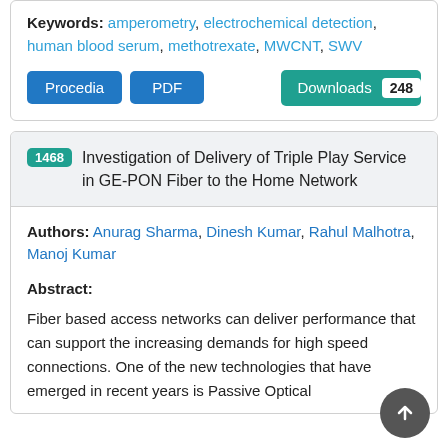Keywords: amperometry, electrochemical detection, human blood serum, methotrexate, MWCNT, SWV
Procedia | PDF | Downloads 248
1468 Investigation of Delivery of Triple Play Service in GE-PON Fiber to the Home Network
Authors: Anurag Sharma, Dinesh Kumar, Rahul Malhotra, Manoj Kumar
Abstract:
Fiber based access networks can deliver performance that can support the increasing demands for high speed connections. One of the new technologies that have emerged in recent years is Passive Optical